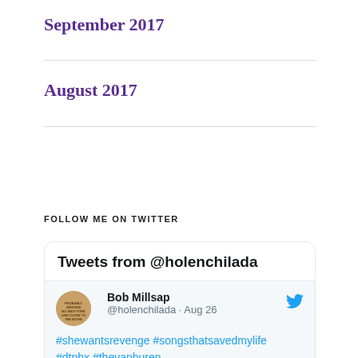September 2017
August 2017
FOLLOW ME ON TWITTER
[Figure (screenshot): Twitter widget showing tweets from @holenchilada. Header 'Tweets from @holenchilada'. Tweet by Bob Millsap @holenchilada on Aug 26 with hashtags #shewantsrevenge #songsthatsavedmylife #dtphx #thevanburen. Below is a concert image with purple stage lights.]